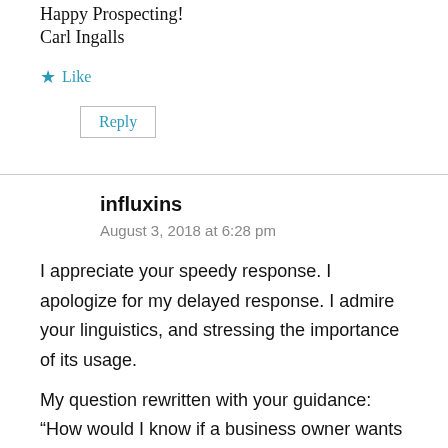Happy Prospecting!
Carl Ingalls
★ Like
Reply
influxins
August 3, 2018 at 6:28 pm
I appreciate your speedy response. I apologize for my delayed response. I admire your linguistics, and stressing the importance of its usage.
My question rewritten with your guidance: “How would I know if a business owner wants health